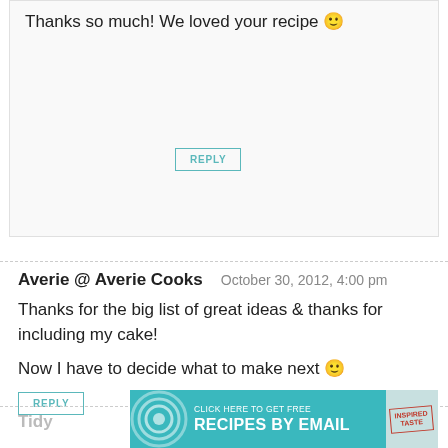Thanks so much! We loved your recipe 🙂
REPLY
Averie @ Averie Cooks
October 30, 2012, 4:00 pm
Thanks for the big list of great ideas & thanks for including my cake!
Now I have to decide what to make next 🙂
REPLY
Tidy
[Figure (other): Advertisement banner: teal background with concentric circles on left, text 'CLICK HERE TO GET FREE RECIPES BY EMAIL' and 'INSPIRED TASTE' badge on right]